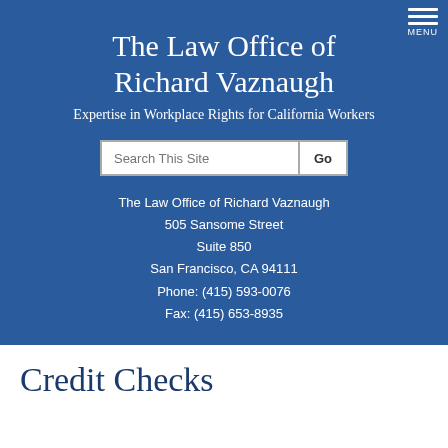The Law Office of Richard Vaznaugh
Expertise in Workplace Rights for California Workers
Search This Site
The Law Office of Richard Vaznaugh
505 Sansome Street
Suite 850
San Francisco, CA 94111
Phone: (415) 593-0076
Fax: (415) 653-8935
Credit Checks